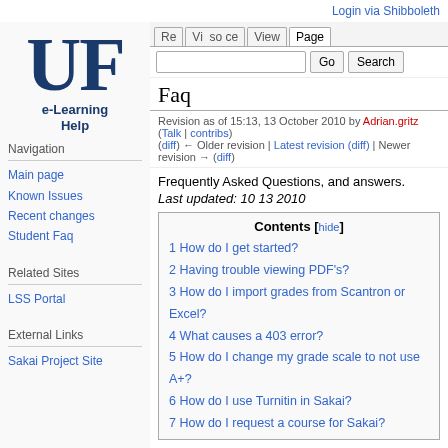Login via Shibboleth
[Figure (logo): University of Florida UF e-Learning Help logo with large blue UF letters and tagline]
Navigation
Main page
Known Issues
Recent changes
Student Faq
Related Sites
LSS Portal
External Links
Sakai Project Site
Faq
Revision as of 15:13, 13 October 2010 by Adrian.gritz (Talk | contribs)
(diff) ← Older revision | Latest revision (diff) | Newer revision → (diff)
Frequently Asked Questions, and answers.
Last updated: 10 13 2010
| Contents [hide] |
| --- |
| 1 How do I get started? |
| 2 Having trouble viewing PDF's? |
| 3 How do I import grades from Scantron or Excel? |
| 4 What causes a 403 error? |
| 5 How do I change my grade scale to not use A+? |
| 6 How do I use Turnitin in Sakai? |
| 7 How do I request a course for Sakai? |